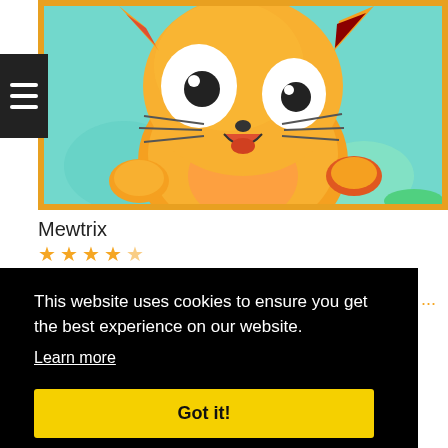[Figure (illustration): Cartoon orange cat character with big googly eyes, open mouth showing tongue, raised paws, on a teal/cyan background. Image has a thick golden/orange border frame.]
Mewtrix
★★★★☆
This website uses cookies to ensure you get the best experience on our website.
Learn more
Got it!